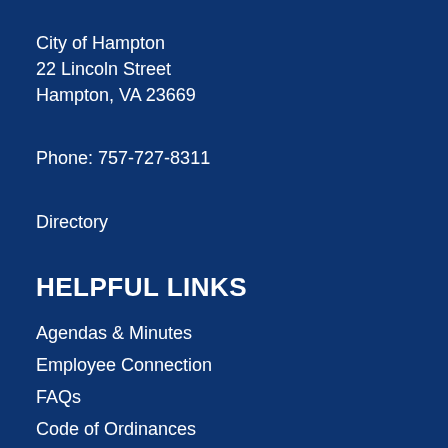City of Hampton
22 Lincoln Street
Hampton, VA 23669
Phone: 757-727-8311
Directory
HELPFUL LINKS
Agendas & Minutes
Employee Connection
FAQs
Code of Ordinances
Public Notices
Maps